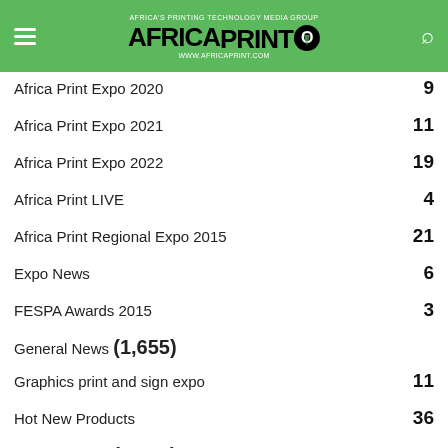AFRICA PRINT - www.africaprint.com
Africa Print Expo 2020 — 9
Africa Print Expo 2021 — 11
Africa Print Expo 2022 — 19
Africa Print LIVE — 4
Africa Print Regional Expo 2015 — 21
Expo News — 6
FESPA Awards 2015 — 3
General News (1,655)
Graphics print and sign expo — 11
Hot New Products — 36
Industry News (1,488)
International Hot New Products — 978
International News (1,161)